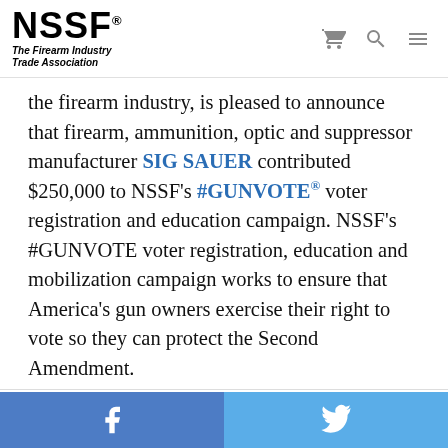NSSF® The Firearm Industry Trade Association
the firearm industry, is pleased to announce that firearm, ammunition, optic and suppressor manufacturer SIG SAUER contributed $250,000 to NSSF's #GUNVOTE® voter registration and education campaign. NSSF's #GUNVOTE voter registration, education and mobilization campaign works to ensure that America's gun owners exercise their right to vote so they can protect the Second Amendment.
We use cookies to ensure we give you the best experience on our website. By clicking "Accept" or using our website, you consent to the use of cookies unless you have disabled them.
Facebook | Twitter